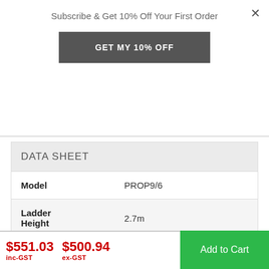Subscribe & Get 10% Off Your First Order
GET MY 10% OFF
| DATA SHEET |  |
| --- | --- |
| Model | PROP9/6 |
| Ladder Height | 2.7m |
| Platform Height | 1.8m |
$551.03 inc-GST  $500.94 ex-GST
Add to Cart